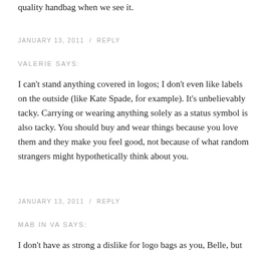quality handbag when we see it.
JANUARY 13, 2011  /  REPLY
VALERIE SAYS:
I can't stand anything covered in logos; I don't even like labels on the outside (like Kate Spade, for example). It's unbelievably tacky. Carrying or wearing anything solely as a status symbol is also tacky. You should buy and wear things because you love them and they make you feel good, not because of what random strangers might hypothetically think about you.
JANUARY 13, 2011  /  REPLY
MAB IN VA SAYS:
I don't have as strong a dislike for logo bags as you, Belle, but